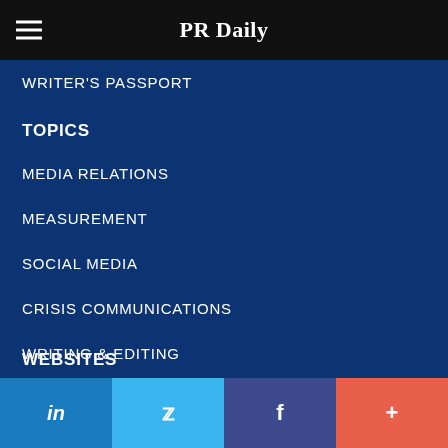PR Daily
WRITER'S PASSPORT
TOPICS
MEDIA RELATIONS
MEASUREMENT
SOCIAL MEDIA
CRISIS COMMUNICATIONS
WRITING & EDITING
MARKETING
WEBSITES
in | Twitter | f | +